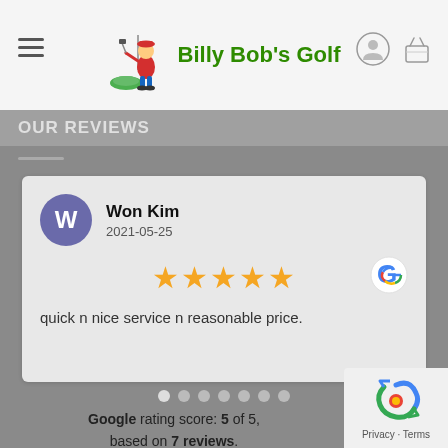[Figure (logo): Billy Bob's Golf logo with cartoon golfer character and green text]
OUR REVIEWS
Won Kim
2021-05-25
★★★★★
quick n nice service n reasonable price.
Google rating score: 5 of 5, based on 7 reviews.